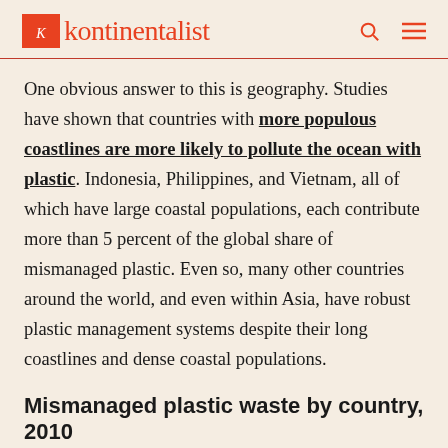kontinentalist
One obvious answer to this is geography. Studies have shown that countries with more populous coastlines are more likely to pollute the ocean with plastic. Indonesia, Philippines, and Vietnam, all of which have large coastal populations, each contribute more than 5 percent of the global share of mismanaged plastic. Even so, many other countries around the world, and even within Asia, have robust plastic management systems despite their long coastlines and dense coastal populations.
Mismanaged plastic waste by country, 2010
% share of global